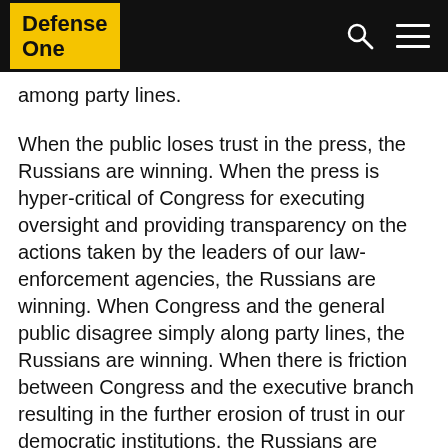Defense One
among party lines.
When the public loses trust in the press, the Russians are winning. When the press is hyper-critical of Congress for executing oversight and providing transparency on the actions taken by the leaders of our law-enforcement agencies, the Russians are winning. When Congress and the general public disagree simply along party lines, the Russians are winning. When there is friction between Congress and the executive branch resulting in the further erosion of trust in our democratic institutions, the Russians are winning.
The cycle will not stop, and Russian influence operations will continue, unless we take immediate